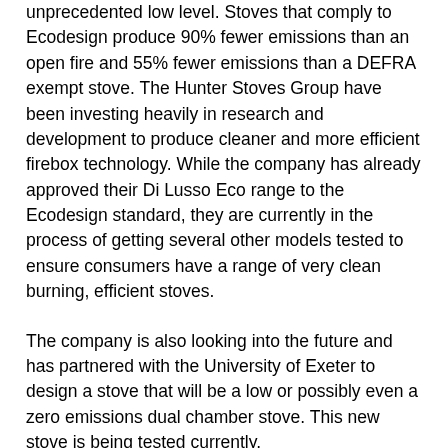unprecedented low level. Stoves that comply to Ecodesign produce 90% fewer emissions than an open fire and 55% fewer emissions than a DEFRA exempt stove. The Hunter Stoves Group have been investing heavily in research and development to produce cleaner and more efficient firebox technology. While the company has already approved their Di Lusso Eco range to the Ecodesign standard, they are currently in the process of getting several other models tested to ensure consumers have a range of very clean burning, efficient stoves.
The company is also looking into the future and has partnered with the University of Exeter to design a stove that will be a low or possibly even a zero emissions dual chamber stove. This new stove is being tested currently.
Woodburning stoves can be good for the environment